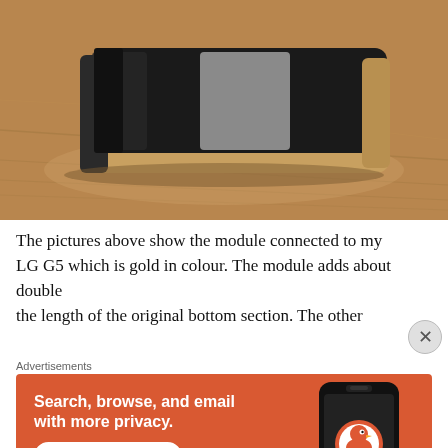[Figure (photo): A black LG G5 smartphone lying flat on a wooden surface, viewed from the side at a slight angle. The phone is gold-colored on the sides. The screen is off and reflective.]
The pictures above show the module connected to my LG G5 which is gold in colour. The module adds about double the length of the original bottom section. The other
Advertisements
[Figure (screenshot): DuckDuckGo advertisement banner with orange background. Text reads: 'Search, browse, and email with more privacy. All in One Free App'. Shows a dark smartphone with DuckDuckGo app and logo.]